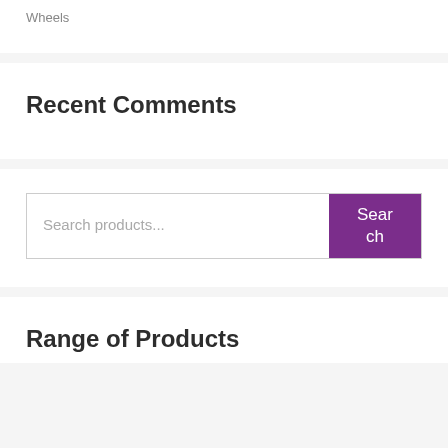Wheels
Recent Comments
[Figure (screenshot): Search products input field with purple Search button]
Range of Products